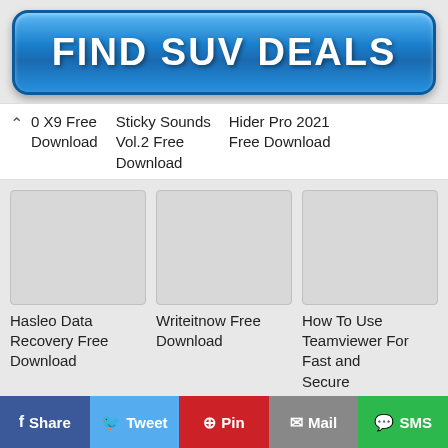[Figure (other): Blue gradient button with text FIND SUV DEALS]
0 X9 Free Download
Sticky Sounds Vol.2 Free Download
Hider Pro 2021 Free Download
[Figure (other): Thumbnail placeholder image for Hasleo Data Recovery Free Download]
Hasleo Data Recovery Free Download
[Figure (other): Thumbnail placeholder image for Writeitnow Free Download]
Writeitnow Free Download
[Figure (other): Thumbnail placeholder image for How To Use Teamviewer For Fast and Secure Meetings]
How To Use Teamviewer For Fast and Secure Meetings
f Share  Tweet  Pin  Mail  SMS